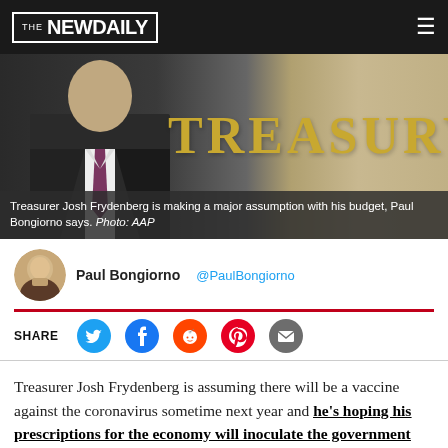[Figure (photo): The New Daily website header with logo on black background and hamburger menu icon]
[Figure (photo): Treasurer Josh Frydenberg standing in front of the Treasury building sign]
Treasurer Josh Frydenberg is making a major assumption with his budget, Paul Bongiorno says. Photo: AAP
[Figure (photo): Author headshot of Paul Bongiorno]
Paul Bongiorno   @PaulBongiorno
SHARE
Treasurer Josh Frydenberg is assuming there will be a vaccine against the coronavirus sometime next year and he's hoping his prescriptions for the economy will inoculate the government against blame if things go wrong.